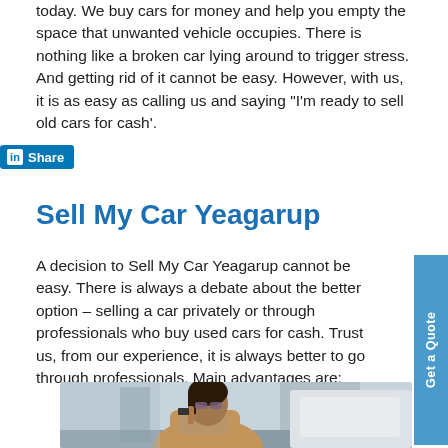today. We buy cars for money and help you empty the space that unwanted vehicle occupies. There is nothing like a broken car lying around to trigger stress. And getting rid of it cannot be easy. However, with us, it is as easy as calling us and saying “I’m ready to sell old cars for cash’.
[Figure (other): LinkedIn Share button overlay]
Sell My Car Yeagarup
A decision to Sell My Car Yeagarup cannot be easy. There is always a debate about the better option – selling a car privately or through professionals who buy used cars for cash. Trust us, from our experience, it is always better to go through professionals. Main advantages are:
[Figure (photo): A woman in sunglasses and a beige coat talking on a phone while leaning on a car with the hood open, outdoors.]